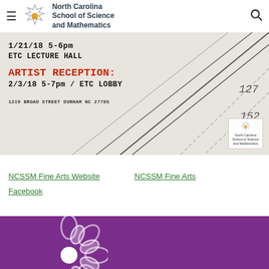North Carolina School of Science and Mathematics
[Figure (photo): Event flyer banner for NCSSM art show: '1/21/18 5-6PM ETC LECTURE HALL' then 'ARTIST RECEPTION: 2/3/18 5-7PM / ETC LOBBY' and '1219 BROAD STREET DURHAM NC 27705' with geometric line art on right side and NCSSM logo in bottom right corner]
NCSSM Fine Arts Website
NCSSM Fine Arts
Facebook
[Figure (logo): NCSSM snowflake/flower logo in white on purple background, partially visible at bottom of page]